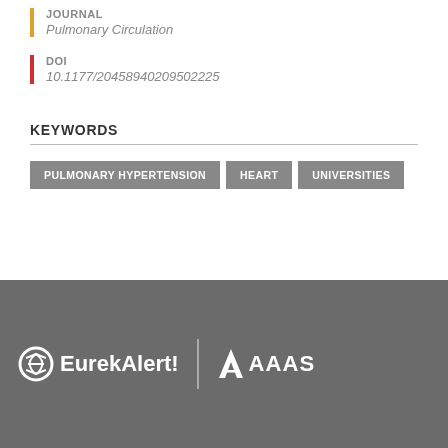JOURNAL
Pulmonary Circulation
DOI
10.1177/20458940209502225
KEYWORDS
PULMONARY HYPERTENSION
HEART
UNIVERSITIES
[Figure (logo): EurekAlert! and AAAS logos in white on a grey footer background]